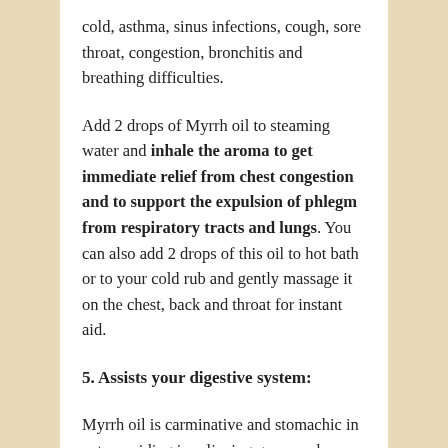cold, asthma, sinus infections, cough, sore throat, congestion, bronchitis and breathing difficulties.
Add 2 drops of Myrrh oil to steaming water and inhale the aroma to get immediate relief from chest congestion and to support the expulsion of phlegm from respiratory tracts and lungs. You can also add 2 drops of this oil to hot bath or to your cold rub and gently massage it on the chest, back and throat for instant aid.
5. Assists your digestive system:
Myrrh oil is carminative and stomachic in nature, aiding in relieving gases and promoting the process of digestion. It helps in restoring the appetite, treating indigestion, nausea, flatulence, stomach pain and constipation by stimulating the flow of saliva, bile and other digestive juices. You can either use 2 to 3 drops of Myrrh oil in steam inhalation or diffuser for calming the digestive system. Massaging your tummy and abdomen with 2 drops of Myrrh oil blended with sesame oil can help in